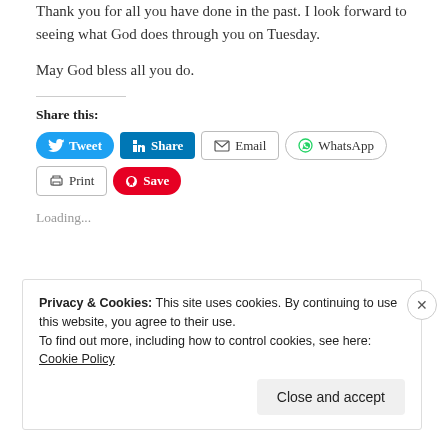Thank you for all you have done in the past. I look forward to seeing what God does through you on Tuesday.
May God bless all you do.
Share this:
[Figure (other): Social share buttons: Tweet, Share (LinkedIn), Email, WhatsApp, Print, Save (Pinterest)]
Loading...
Privacy & Cookies: This site uses cookies. By continuing to use this website, you agree to their use. To find out more, including how to control cookies, see here: Cookie Policy
Close and accept